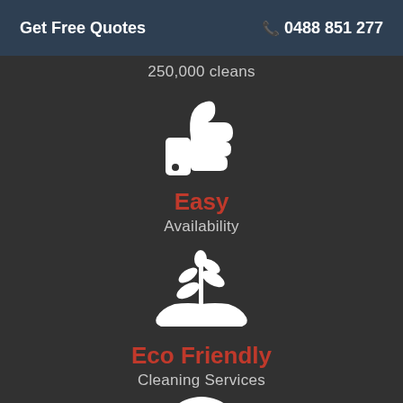Get Free Quotes   📞 0488 851 277
250,000 cleans
[Figure (illustration): White thumbs-up like icon on dark background]
Easy
Availability
[Figure (illustration): White hand holding a plant/leaf icon on dark background]
Eco Friendly
Cleaning Services
[Figure (illustration): White dollar coin/money icon on dark background, partially visible]